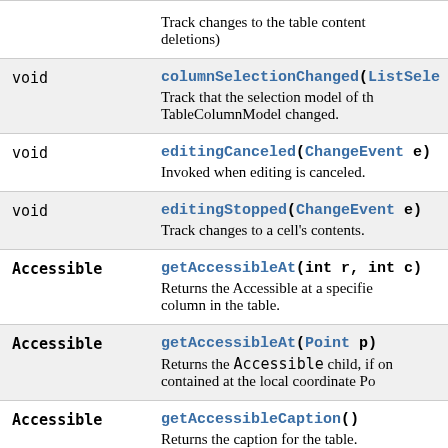| Type | Method / Description |
| --- | --- |
| void | columnSelectionChanged(ListSele...
Track that the selection model of the TableColumnModel changed. |
| void | editingCanceled(ChangeEvent e)
Invoked when editing is canceled. |
| void | editingStopped(ChangeEvent e)
Track changes to a cell's contents. |
| Accessible | getAccessibleAt(int r, int c)
Returns the Accessible at a specified column in the table. |
| Accessible | getAccessibleAt(Point p)
Returns the Accessible child, if one is contained at the local coordinate Po... |
| Accessible | getAccessibleCaption()
Returns the caption for the table. |
| Accessible | getAccessibleChild(int i) |